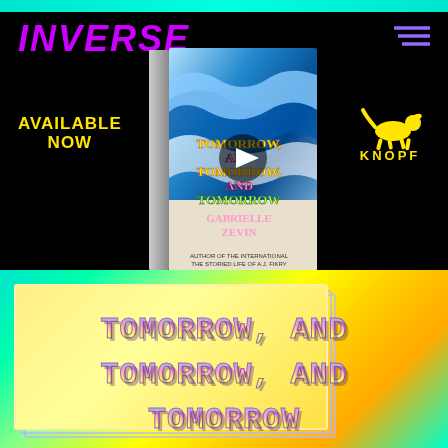INVERSE
[Figure (photo): Book cover of 'Tomorrow, and Tomorrow, and Tomorrow' by Gabrielle Zevin, featuring a Great Wave-style illustration with colorful retro pixel text, displayed as a 3D angled book with a play button overlay]
AVAILABLE NOW
[Figure (logo): Knopf publisher logo showing a running dog silhouette in yellow with the text KNOPF below]
[Figure (illustration): Bottom section with colorful gradient background (cyan, yellow, orange), stacked card effect on the left, and large pixel/retro styled title text reading 'TOMORROW, AND TOMORROW, AND TOMORROW']
TOMORROW, AND TOMORROW, AND TOMORROW